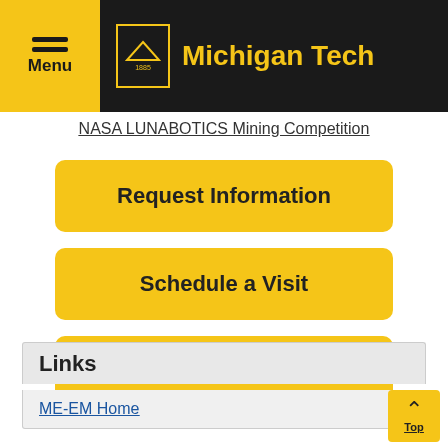Michigan Tech
NASA LUNABOTICS Mining Competition
Request Information
Schedule a Visit
Apply Now
Links
ME-EM Home